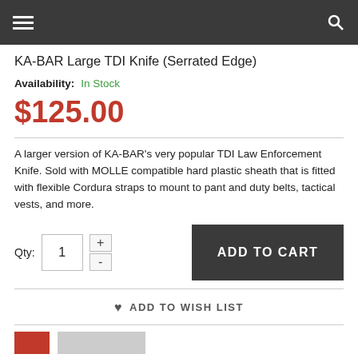Navigation bar with hamburger menu and search icon
KA-BAR Large TDI Knife (Serrated Edge)
Availability: In Stock
$125.00
A larger version of KA-BAR's very popular TDI Law Enforcement Knife. Sold with MOLLE compatible hard plastic sheath that is fitted with flexible Cordura straps to mount to pant and duty belts, tactical vests, and more.
Qty: 1 ADD TO CART
ADD TO WISH LIST